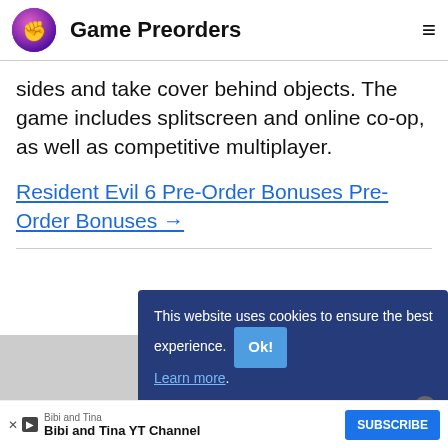Game Preorders
sides and take cover behind objects. The game includes splitscreen and online co-op, as well as competitive multiplayer.
Resident Evil 6 Pre-Order Bonuses Pre-Order Bonuses →
[Figure (screenshot): Cookie consent banner overlay on a website reading 'This website uses cookies to ensure the best experience. Learn more.' with an 'Ok!' button, and a YouTube ad bar at the bottom showing 'Bibi and Tina YT Channel' with a SUBSCRIBE button.]